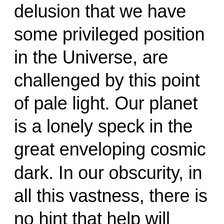delusion that we have some privileged position in the Universe, are challenged by this point of pale light. Our planet is a lonely speck in the great enveloping cosmic dark. In our obscurity, in all this vastness, there is no hint that help will come from elsewhere to save us from ourselves. The Earth is the only world known so far to harbor life. There is nowhere else, at least in the near future, to which our species could migrate. Visit, yes. Settle, not yet. Like it or not, for the moment the Earth is where we